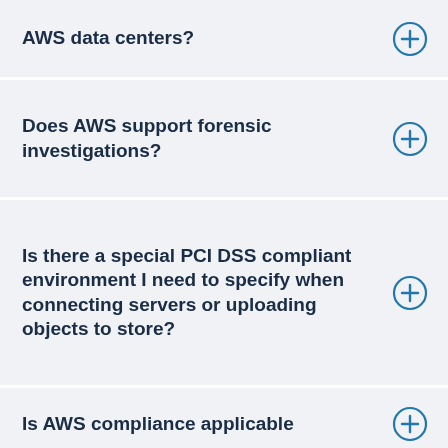AWS data centers?
Does AWS support forensic investigations?
Is there a special PCI DSS compliant environment I need to specify when connecting servers or uploading objects to store?
Is AWS compliance applicable